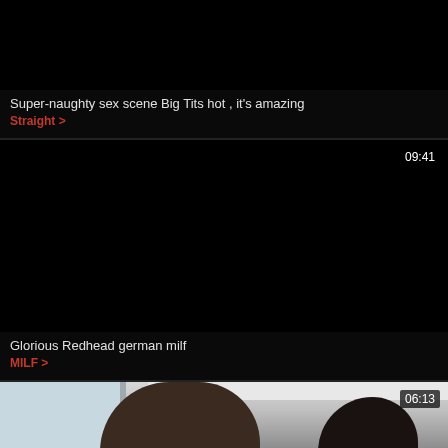[Figure (screenshot): Video thumbnail - black/dark]
Super-naughty sex scene Big Tits hot , it's amazing
Straight >
[Figure (screenshot): Video thumbnail - black, timestamp 09:41]
Glorious Redhead german milf
MILF >
[Figure (photo): Video thumbnail with two people, timestamp 06:13]